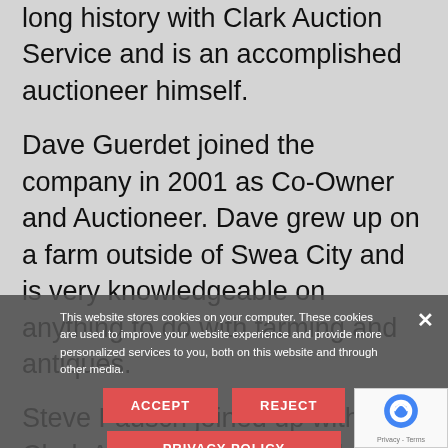long history with Clark Auction Service and is an accomplished auctioneer himself.
Dave Guerdet joined the company in 2001 as Co-Owner and Auctioneer. Dave grew up on a farm outside of Swea City and is very knowledgeable on anything to do with farming and antiques.
Steve Fausch joined up with Clark Auction in 2017 and has extensive knowledge in the real estate business, selling numerous properties in Southern Minnesota.
We have built a mailing list for each type of auction so we can get the right people to the auctions. Having the right buyers brings the best return for our clients. We're always looking for more wa...
This website stores cookies on your computer. These cookies are used to improve your website experience and provide more personalized services to you, both on this website and through other media.
ACCEPT | REJECT
PRIVACY POLICY